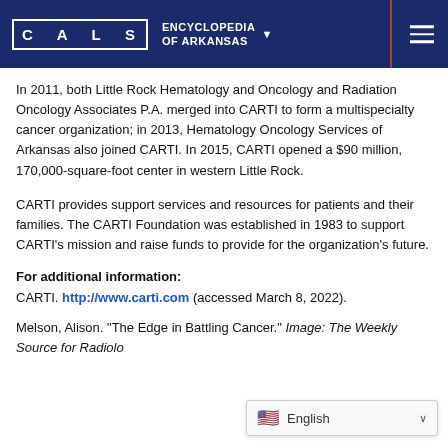CALS ENCYCLOPEDIA OF ARKANSAS
In 2011, both Little Rock Hematology and Oncology and Radiation Oncology Associates P.A. merged into CARTI to form a multispecialty cancer organization; in 2013, Hematology Oncology Services of Arkansas also joined CARTI. In 2015, CARTI opened a $90 million, 170,000-square-foot center in western Little Rock.
CARTI provides support services and resources for patients and their families. The CARTI Foundation was established in 1983 to support CARTI's mission and raise funds to provide for the organization's future.
For additional information:
CARTI. http://www.carti.com (accessed March 8, 2022).
Melson, Alison. "The Edge in Battling Cancer." Image: The Weekly Source for Radiolo…